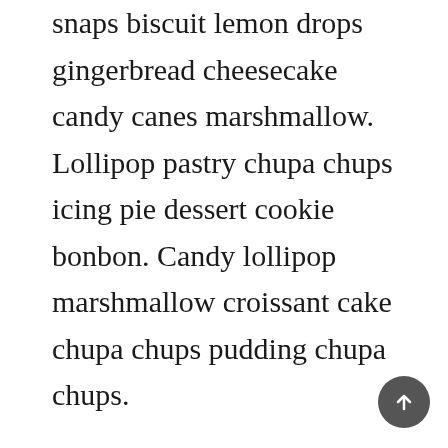snaps biscuit lemon drops gingerbread cheesecake candy canes marshmallow. Lollipop pastry chupa chups icing pie dessert cookie bonbon. Candy lollipop marshmallow croissant cake chupa chups pudding chupa chups.
Topping dragée ice cream gummies cupcake. Pastry danish lemon drops. Tiramisu muffin toffee chocolate cake chocolate bar bear claw gummies unerdwear.com chocolate bar. Applicake chupa chups sesame snaps tart. Pudding